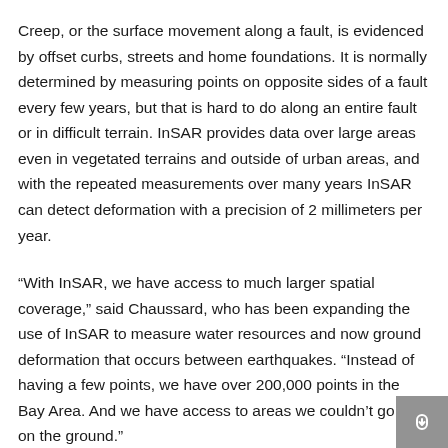Creep, or the surface movement along a fault, is evidenced by offset curbs, streets and home foundations. It is normally determined by measuring points on opposite sides of a fault every few years, but that is hard to do along an entire fault or in difficult terrain. InSAR provides data over large areas even in vegetated terrains and outside of urban areas, and with the repeated measurements over many years InSAR can detect deformation with a precision of 2 millimeters per year.
“With InSAR, we have access to much larger spatial coverage,” said Chaussard, who has been expanding the use of InSAR to measure water resources and now ground deformation that occurs between earthquakes. “Instead of having a few points, we have over 200,000 points in the Bay Area. And we have access to areas we couldn’t go to on the ground.”